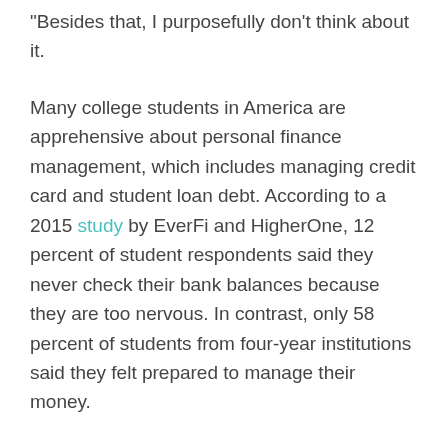“Besides that, I purposefully don’t think about it.
Many college students in America are apprehensive about personal finance management, which includes managing credit card and student loan debt. According to a 2015 study by EverFi and HigherOne, 12 percent of student respondents said they never check their bank balances because they are too nervous. In contrast, only 58 percent of students from four-year institutions said they felt prepared to manage their money.
With percentages of debt in America increasing, college students’ anxiety about money management continues to increase as well. Armed with passion to fight that battle, both students and university innovators are trying to provide resources for students to prevent financial problems and set students on a path toward financial literacy and well-being.